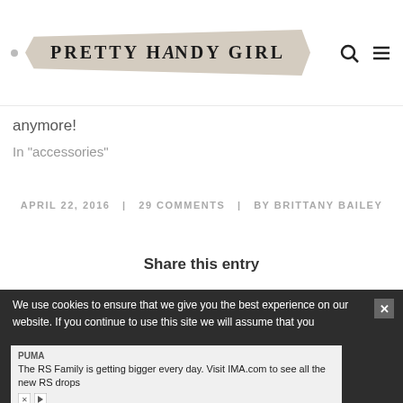PRETTY HANDY GIRL
anymore!
In "accessories"
APRIL 22, 2016 | 29 COMMENTS | BY BRITTANY BAILEY
Share this entry
We use cookies to ensure that we give you the best experience on our website. If you continue to use this site we will assume that you
PUMA
The RS Family is getting bigger every day. Visit IMA.com to see all the new RS drops